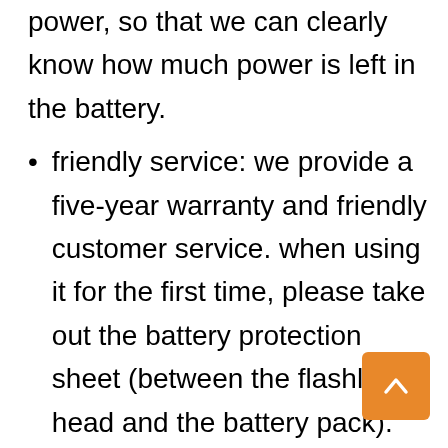power, so that we can clearly know how much power is left in the battery.
friendly service: we provide a five-year warranty and friendly customer service. when using it for the first time, please take out the battery protection sheet (between the flashlight head and the battery pack). and fully charge the battery pack. if you have any questions while using the flashlight, please contact us.